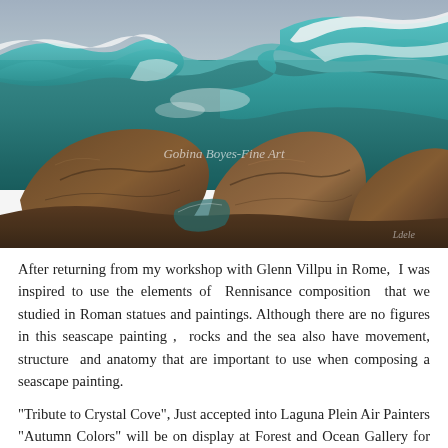[Figure (illustration): Oil painting of rocky coastal seascape with large brown rocks in the foreground and crashing turquoise/teal waves behind them. The sky is pale blue-grey. A watermark reads 'Gobina Boyes-Fine Art' in the center. An artist signature appears in the lower right.]
After returning from my workshop with Glenn Villpu in Rome,  I was inspired to use the elements of  Rennisance composition  that we studied in Roman statues and paintings. Although there are no figures in this seascape painting ,  rocks and the sea also have movement, structure  and anatomy that are important to use when composing a seascape painting.
"Tribute to Crystal Cove", Just accepted into Laguna Plein Air Painters "Autumn Colors" will be on display at Forest and Ocean Gallery for the